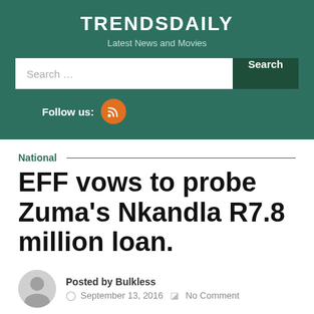TRENDSDAILY
Latest News and Movies
National
EFF vows to probe Zuma's Nkandla R7.8 million loan.
Posted by Bulkless
September 13, 2016
No Comment